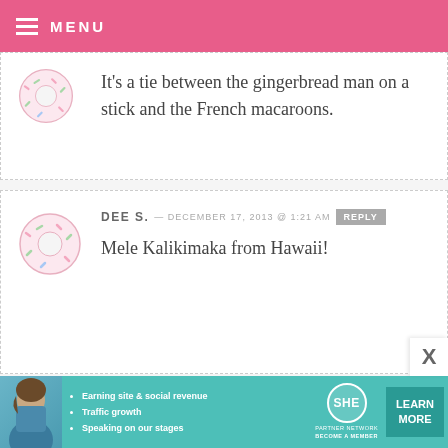MENU
It’s a tie between the gingerbread man on a stick and the French macaroons.
DEE S. — DECEMBER 17, 2013 @ 1:21 AM  REPLY
Mele Kalikimaka from Hawaii!
MARISSA KOLSEN — DECEMBER 17, 2013 @ 1:16 AM  REPLY
I LOVE the cake pop!
[Figure (other): SHE Partner Network advertisement banner with photo, bullet points, logo and learn more button]